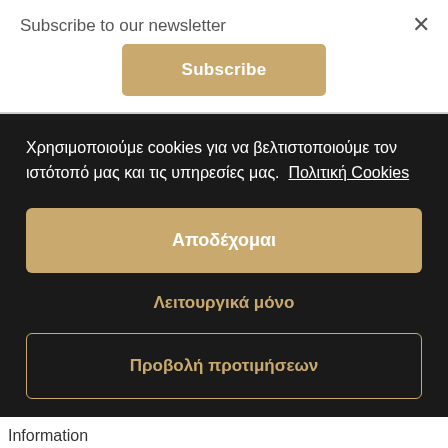Subscribe to our newsletter
×
Subscribe
Χρησιμοποιούμε cookies για να βελτιστοποιούμε τον ιστότοπό μας και τις υπηρεσίες μας. Πολιτική Cookies
Αποδέχομαι
Λειτουργικά μόνο
Προβολή προτιμήσεων
Information